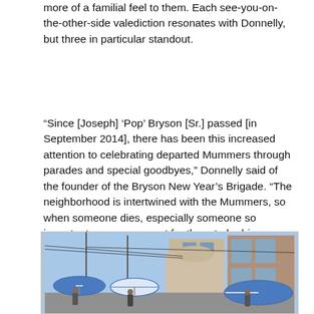more of a familial feel to them. Each see-you-on-the-other-side valediction resonates with Donnelly, but three in particular standout.
“Since [Joseph] ‘Pop’ Bryson [Sr.] passed [in September 2014], there has been this increased attention to celebrating departed Mummers through parades and special goodbyes,” Donnelly said of the founder of the Bryson New Year’s Brigade. “The neighborhood is intertwined with the Mummers, so when someone dies, especially someone so important, you can expect for there to be bigger interest in recognizing that person as a pioneer. With ‘Pop’ Bryson and his parade, that was obvious.”
[Figure (photo): Street scene showing people with blue and white umbrellas in a parade or outdoor gathering, with row homes and a brick building visible in the background under a clear blue sky.]